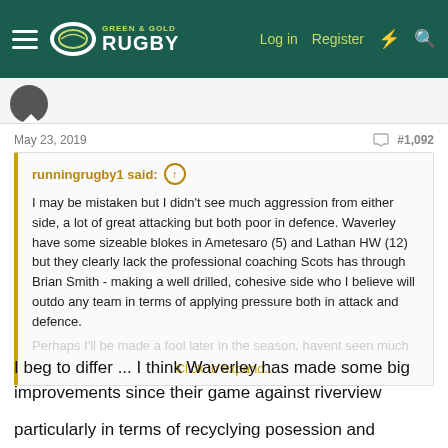Green & Gold Rugby — Log in  Register
May 23, 2019  #1,092
runningrugby1 said: ↑

I may be mistaken but I didn't see much aggression from either side, a lot of great attacking but both poor in defence. Waverley have some sizeable blokes in Ametesaro (5) and Lathan HW (12) but they clearly lack the professional coaching Scots has through Brian Smith - making a well drilled, cohesive side who I believe will outdo any team in terms of applying pressure both in attack and defence.

Perhaps I'll be made a fool later in the season, havent seen much

Click to expand...
I beg to differ ... I think Waverley has made some big improvements since their game against riverview
particularly in terms of recyclying posession and scrums
so while I have been critical in the past ... only with good